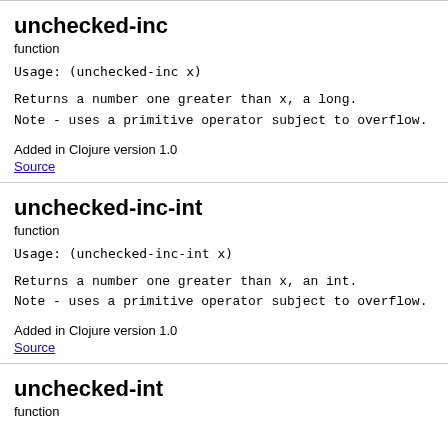unchecked-inc
function
Usage: (unchecked-inc x)
Returns a number one greater than x, a long.
Note - uses a primitive operator subject to overflow.
Added in Clojure version 1.0
Source
unchecked-inc-int
function
Usage: (unchecked-inc-int x)
Returns a number one greater than x, an int.
Note - uses a primitive operator subject to overflow.
Added in Clojure version 1.0
Source
unchecked-int
function